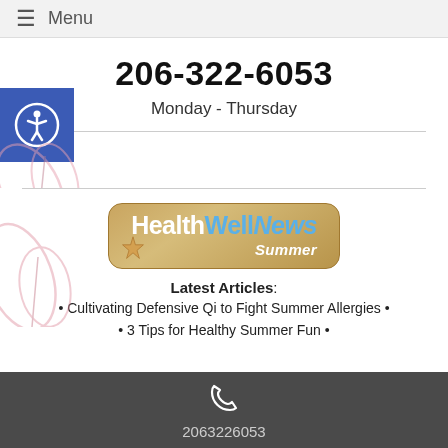≡ Menu
206-322-6053
Monday - Thursday
[Figure (logo): Blue accessibility icon with person-in-circle symbol]
[Figure (illustration): HealthWellNews Summer banner with sandy beach, starfish decoration]
Latest Articles:
Cultivating Defensive Qi to Fight Summer Allergies •
3 Tips for Healthy Summer Fun •
2063226053